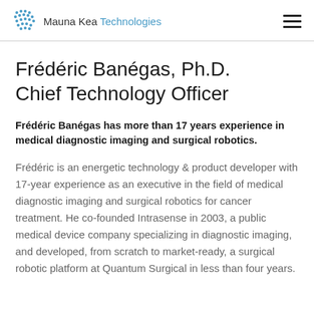Mauna Kea Technologies
Frédéric Banégas, Ph.D.
Chief Technology Officer
Frédéric Banégas has more than 17 years experience in medical diagnostic imaging and surgical robotics.
Frédéric is an energetic technology & product developer with 17-year experience as an executive in the field of medical diagnostic imaging and surgical robotics for cancer treatment. He co-founded Intrasense in 2003, a public medical device company specializing in diagnostic imaging, and developed, from scratch to market-ready, a surgical robotic platform at Quantum Surgical in less than four years.